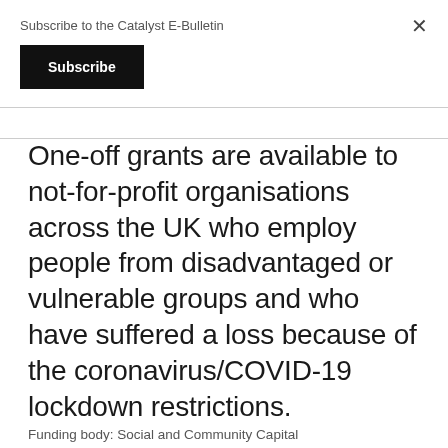Subscribe to the Catalyst E-Bulletin
Subscribe
One-off grants are available to not-for-profit organisations across the UK who employ people from disadvantaged or vulnerable groups and who have suffered a loss because of the coronavirus/COVID-19 lockdown restrictions.
Funding body: Social and Community Capital